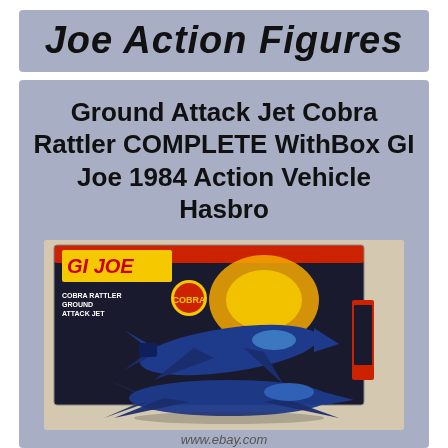Joe Action Figures
Ground Attack Jet Cobra Rattler COMPLETE WithBox GI Joe 1984 Action Vehicle Hasbro
[Figure (photo): Photo of GI Joe Cobra Rattler Ground Attack Jet toy in its original box, showing the blue jet aircraft and the colorful box artwork with GI JOE branding and COBRA RATTLER GROUND ATTACK JET text]
www.ebay.com